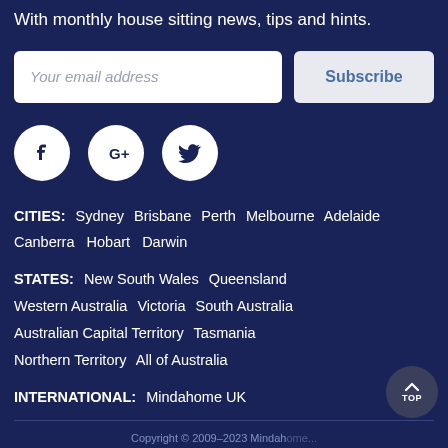With monthly house sitting news, tips and hints.
[Figure (screenshot): Email subscription form with 'Your email address' input field and 'Subscribe' button]
[Figure (infographic): Three social media icon circles: Facebook (f), Google+ (G+), Twitter (bird)]
CITIES: Sydney  Brisbane  Perth  Melbourne  Adelaide  Canberra  Hobart  Darwin
STATES: New South Wales  Queensland  Western Australia  Victoria  South Australia  Australian Capital Territory  Tasmania  Northern Territory  All of Australia
INTERNATIONAL: Mindahome UK
Copyright © 2009–2023 Mindahome...